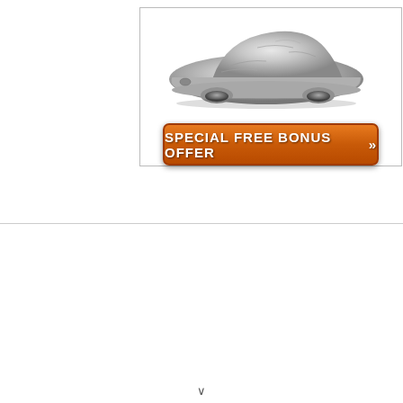[Figure (infographic): Advertisement box with a gray car cover draped over a sedan vehicle, and below it an orange button labeled 'SPECIAL FREE BONUS OFFER' with double right-arrow chevrons]